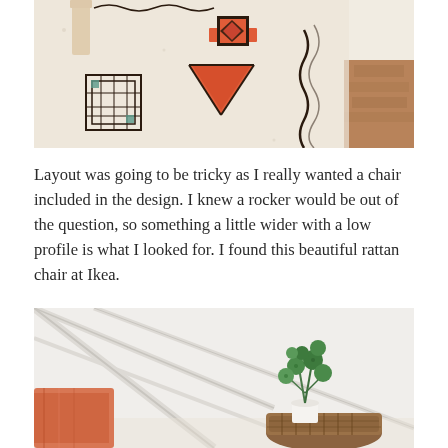[Figure (photo): Close-up photograph of a white fluffy area rug with Moroccan/Aztec-style geometric patterns in orange, black, and teal. A wooden furniture leg is visible at the top left, and hardwood flooring is seen at the right edge.]
Layout was going to be tricky as I really wanted a chair included in the design. I knew a rocker would be out of the question, so something a little wider with a low profile is what I looked for. I found this beautiful rattan chair at Ikea.
[Figure (photo): Interior room photo showing white geometric wall paneling with diagonal lines forming a modern pattern. In the lower portion, a small green plant in a white pot sits on a wicker basket/ottoman, and part of an orange-patterned pillow and chair is visible on the left.]